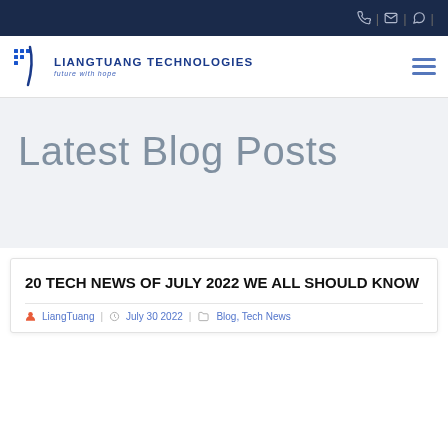Liangtuang Technologies — top navigation bar with phone, email, WhatsApp icons
[Figure (logo): Liangtuang Technologies logo with grid/dots icon, text 'LIANGTUANG TECHNOLOGIES' and tagline 'future with hope' in blue]
Latest Blog Posts
20 TECH NEWS OF JULY 2022 WE ALL SHOULD KNOW
LiangTuang   July 30 2022   Blog, Tech News